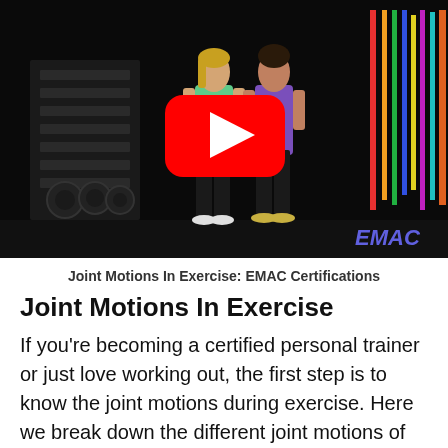[Figure (screenshot): YouTube video thumbnail showing two women standing in a gym. One wears a green tank top and the other wears a purple top. A YouTube play button is overlaid in the center. Colorful resistance bands hang on the right wall. EMAC logo is visible in the bottom right corner. Dark gym background with weight equipment on the left.]
Joint Motions In Exercise: EMAC Certifications
Joint Motions In Exercise
If you're becoming a certified personal trainer or just love working out, the first step is to know the joint motions during exercise. Here we break down the different joint motions of the body and some key tips on how you can remember them